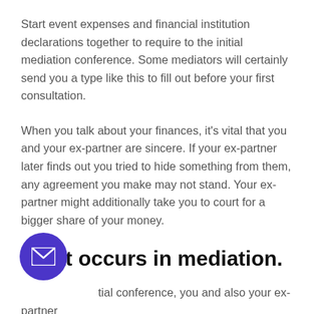Start event expenses and financial institution declarations together to require to the initial mediation conference. Some mediators will certainly send you a type like this to fill out before your first consultation.
When you talk about your finances, it's vital that you and your ex-partner are sincere. If your ex-partner later finds out you tried to hide something from them, any agreement you make may not stand. Your ex-partner might additionally take you to court for a bigger share of your money.
What occurs in mediation.
...tial conference, you and also your ex-partner ...ally fulfill individually with an experienced mediator. Hereafter, you'll have mediation sessions
[Figure (other): Purple circular email/envelope button icon in bottom-left area]